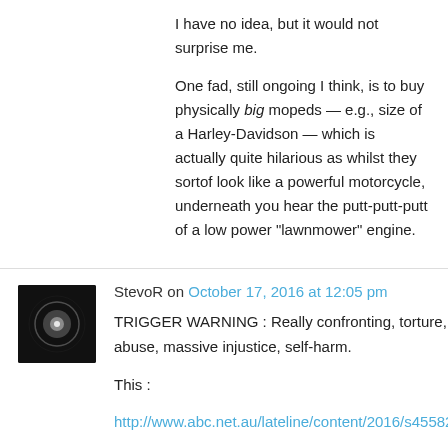I have no idea, but it would not surprise me.
One fad, still ongoing I think, is to buy physically big mopeds — e.g., size of a Harley-Davidson — which is actually quite hilarious as whilst they sortof look like a powerful motorcycle, underneath you hear the putt-putt-putt of a low power “lawnmower” engine.
StevoR on October 17, 2016 at 12:05 pm
TRIGGER WARNING : Really confronting, torture, sexual abuse, massive injustice, self-harm.
This :
http://www.abc.net.au/lateline/content/2016/s4558233.htm
makes me ashamed of my country. Torture, false imprisonment in horrific conditions, sexual abuse and all inflicted on refugees fleeing well, so much horror and hell and torment.
We should bring them here. Process them quickly and fairly and with compassion and reason. Like we did with the